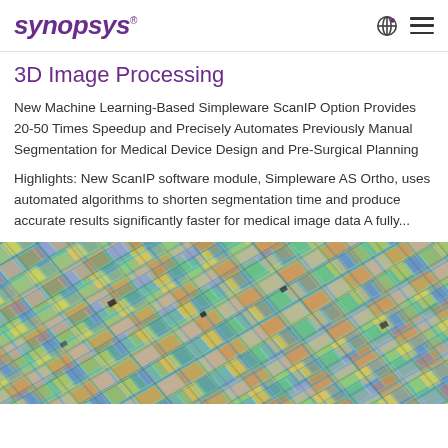SYNOPSYS
3D Image Processing
New Machine Learning-Based Simpleware ScanIP Option Provides 20-50 Times Speedup and Precisely Automates Previously Manual Segmentation for Medical Device Design and Pre-Surgical Planning
Highlights: New ScanIP software module, Simpleware AS Ortho, uses automated algorithms to shorten segmentation time and produce accurate results significantly faster for medical image data A fully...
[Figure (photo): Close-up aerial photograph of a silicon wafer showing colorful integrated circuit die in a grid pattern with iridescent colors including teal, yellow, green, orange, blue, and purple.]